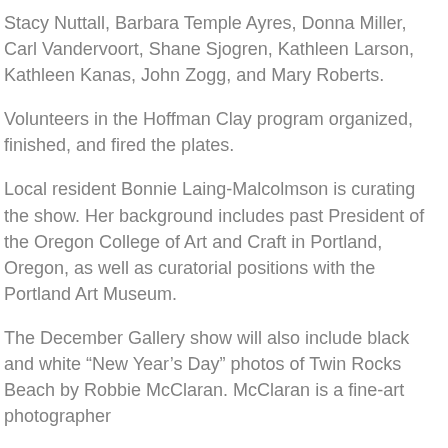Stacy Nuttall, Barbara Temple Ayres, Donna Miller, Carl Vandervoort, Shane Sjogren, Kathleen Larson, Kathleen Kanas, John Zogg, and Mary Roberts.
Volunteers in the Hoffman Clay program organized, finished, and fired the plates.
Local resident Bonnie Laing-Malcolmson is curating the show. Her background includes past President of the Oregon College of Art and Craft in Portland, Oregon, as well as curatorial positions with the Portland Art Museum.
The December Gallery show will also include black and white “New Year’s Day” photos of Twin Rocks Beach by Robbie McClaran. McClaran is a fine-art photographer